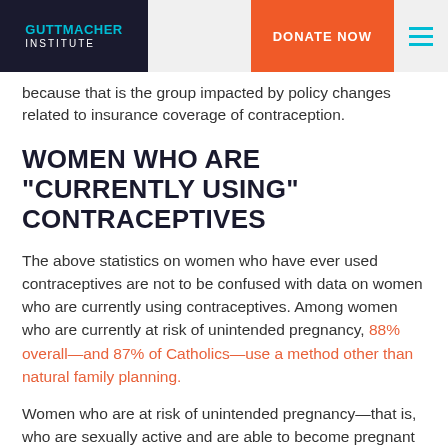GUTTMACHER INSTITUTE | DONATE NOW
because that is the group impacted by policy changes related to insurance coverage of contraception.
WOMEN WHO ARE “CURRENTLY USING” CONTRACEPTIVES
The above statistics on women who have ever used contraceptives are not to be confused with data on women who are currently using contraceptives. Among women who are currently at risk of unintended pregnancy, 88% overall—and 87% of Catholics—use a method other than natural family planning.
Women who are at risk of unintended pregnancy—that is, who are sexually active and are able to become pregnant but want to avoid pregnancy—comprise about seven in 10 of all women of reproductive age. Importantly, this category excludes women who are